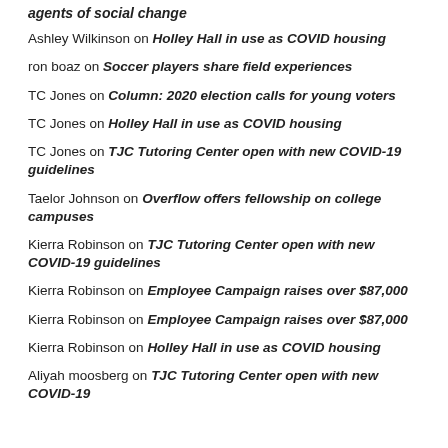agents of social change
Ashley Wilkinson on Holley Hall in use as COVID housing
ron boaz on Soccer players share field experiences
TC Jones on Column: 2020 election calls for young voters
TC Jones on Holley Hall in use as COVID housing
TC Jones on TJC Tutoring Center open with new COVID-19 guidelines
Taelor Johnson on Overflow offers fellowship on college campuses
Kierra Robinson on TJC Tutoring Center open with new COVID-19 guidelines
Kierra Robinson on Employee Campaign raises over $87,000
Kierra Robinson on Employee Campaign raises over $87,000
Kierra Robinson on Holley Hall in use as COVID housing
Aliyah moosberg on TJC Tutoring Center open with new COVID-19